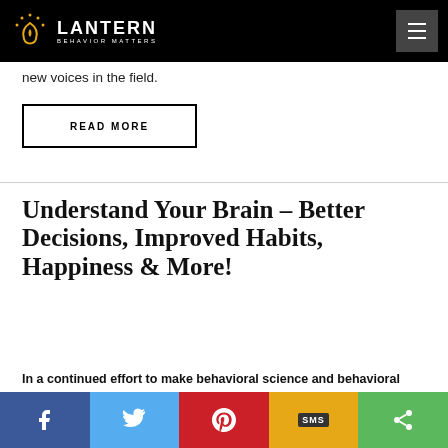LANTERN BEHAVIOR MATTERS
new voices in the field.
READ MORE
Understand Your Brain – Better Decisions, Improved Habits, Happiness & More!
In a continued effort to make behavioral science and behavioral